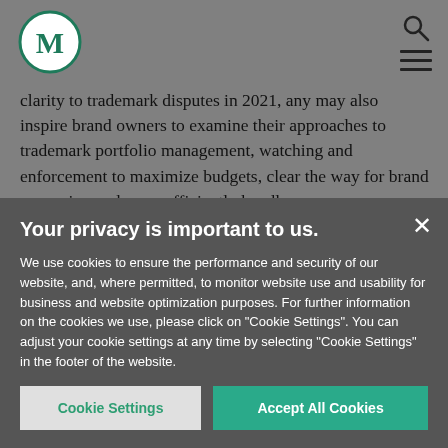[Figure (logo): Circular logo with letter M in dark teal/green on white circle background]
clarity to trademark disputes in 2021, any may also inspire brand owners to examine their approaches to trademark portfolio management, watching and enforcement to maximize budgets, clear the way for brand expansion and more efficiently handle
Your privacy is important to us.
We use cookies to ensure the performance and security of our website, and, where permitted, to monitor website use and usability for business and website optimization purposes. For further information on the cookies we use, please click on "Cookie Settings". You can adjust your cookie settings at any time by selecting "Cookie Settings" in the footer of the website.
Cookie Settings | Accept All Cookies